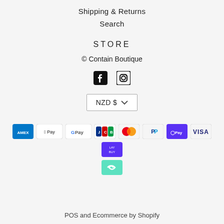Shipping & Returns
Search
STORE
© Contain Boutique
[Figure (illustration): Facebook and Instagram social media icons]
[Figure (other): NZD $ currency selector dropdown]
[Figure (other): Payment method icons: American Express, Apple Pay, Google Pay, JCB, Mastercard, PayPal, Shop Pay, Visa, Laybuy, and an additional icon]
POS and Ecommerce by Shopify